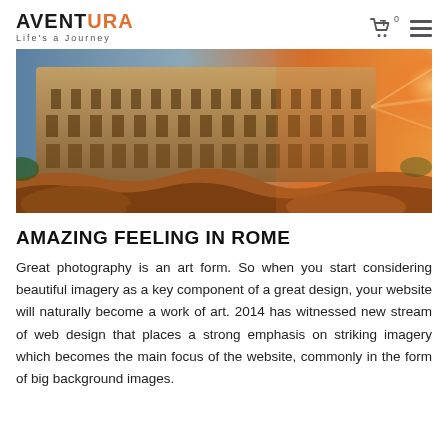AVENTURA — Life's a Journey
[Figure (photo): Wide panoramic photo of the Roman Colosseum at golden hour/sunset, warm orange and amber tones, dramatic lighting with sun rays visible on the right side, rocky terrain and vegetation in the foreground.]
AMAZING FEELING IN ROME
Great photography is an art form. So when you start considering beautiful imagery as a key component of a great design, your website will naturally become a work of art. 2014 has witnessed new stream of web design that places a strong emphasis on striking imagery which becomes the main focus of the website, commonly in the form of big background images.